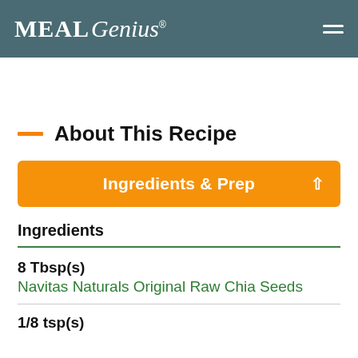MealGenius®
About This Recipe
Ingredients & Prep
Ingredients
8 Tbsp(s)
Navitas Naturals Original Raw Chia Seeds
1/8 tsp(s)